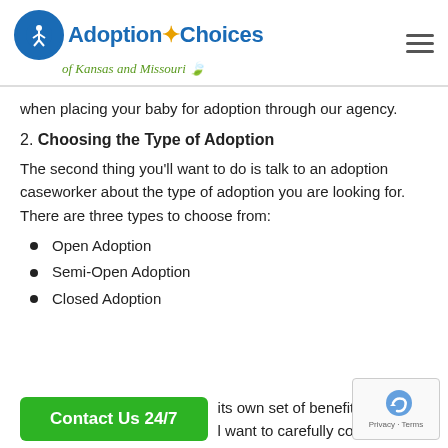Adoption Choices of Kansas and Missouri
when placing your baby for adoption through our agency.
2. Choosing the Type of Adoption
The second thing you'll want to do is talk to an adoption caseworker about the type of adoption you are looking for. There are three types to choose from:
Open Adoption
Semi-Open Adoption
Closed Adoption
E... its own set of benefits a... o... l want to carefully consider